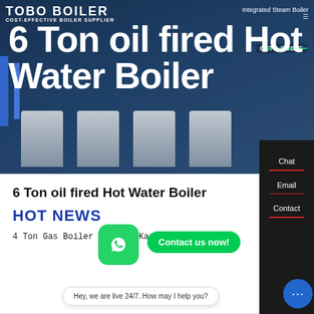[Figure (screenshot): Hero banner image showing industrial hot water boiler units in a factory setting with dark blue overlay]
6 Ton oil fired Hot Water Boiler
6 Ton oil fired Hot Water Boiler
HOT NEWS
4 Ton Gas Boiler Machine Kazakhstan
Hey, we are live 24/7. How may I help you?